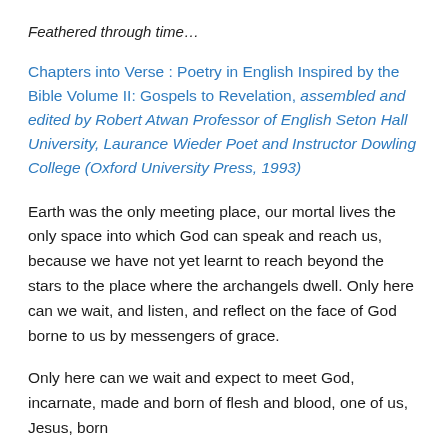Feathered through time…
Chapters into Verse : Poetry in English Inspired by the Bible Volume II: Gospels to Revelation, assembled and edited by Robert Atwan Professor of English Seton Hall University, Laurance Wieder Poet and Instructor Dowling College (Oxford University Press, 1993)
Earth was the only meeting place, our mortal lives the only space into which God can speak and reach us, because we have not yet learnt to reach beyond the stars to the place where the archangels dwell. Only here can we wait, and listen, and reflect on the face of God borne to us by messengers of grace.
Only here can we wait and expect to meet God, incarnate, made and born of flesh and blood, one of us, Jesus, born